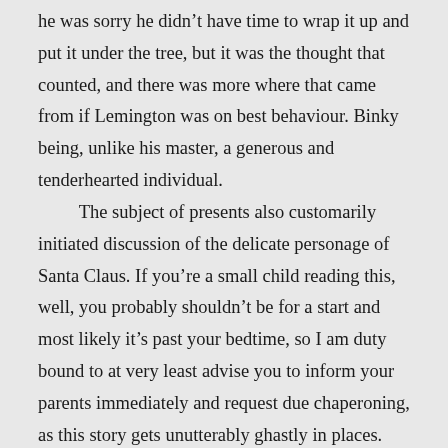he was sorry he didn't have time to wrap it up and put it under the tree, but it was the thought that counted, and there was more where that came from if Lemington was on best behaviour. Binky being, unlike his master, a generous and tenderhearted individual.

The subject of presents also customarily initiated discussion of the delicate personage of Santa Claus. If you're a small child reading this, well, you probably shouldn't be for a start and most likely it's past your bedtime, so I am duty bound to at very least advise you to inform your parents immediately and request due chaperoning, as this story gets unutterably ghastly in places. But apart from that, and if you've ignored my warning in the previous sentence, try not